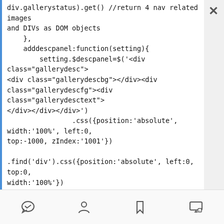div.gallerystatus).get() //return 4 nav related images and DIVs as DOM objects
    },
    adddescpanel:function(setting){
        setting.$descpanel=$('<div class="gallerydesc"><div class="gallerydescbg"></div><div class="gallerydescfg"><div class="gallerydesctext"></div></div></div>')
                .css({position:'absolute', width:'100%', left:0, top:-1000, zIndex:'1001'})
                .find('div').css({position:'absolute', left:0, top:0, width:'100%'})
                .eq(0).css({background:'black', opacity:simpleGallery_navpanel.panel.opacity}).end() //"gallerydescbg" div
                .eq(1).css({color:'white'}).end() //"gallerydescfg" div
[Figure (other): Bottom navigation bar with four icons: messenger/chat, person/user, bookmark, and monitor/screen]